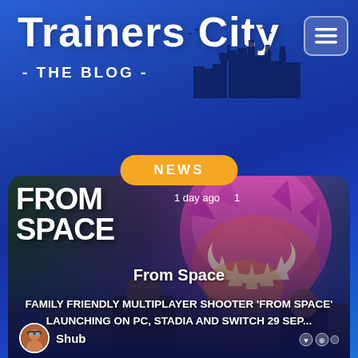Trainers City
- THE BLOG -
[Figure (screenshot): City skyline silhouette illustration in dark blue, above blog header area]
[Figure (other): Hamburger menu icon button, white lines on translucent rounded rectangle]
NEWS
[Figure (screenshot): From Space game promotional card showing large pink alien creature, game logo 'FROM SPACE', characters shooting. Shows '1 day ago' and '1' metadata. Article headline: FAMILY FRIENDLY MULTIPLAYER SHOOTER 'FROM SPACE' LAUNCHING ON PC, STADIA AND SWITCH 29 SEP... Author: Shub]
From Space
FAMILY FRIENDLY MULTIPLAYER SHOOTER 'FROM SPACE' LAUNCHING ON PC, STADIA AND SWITCH 29 SEP...
Shub